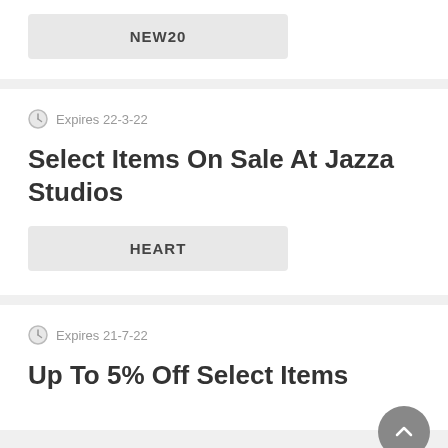[Figure (other): Coupon code box showing 'NEW20' in a light gray rounded rectangle]
Expires 22-3-22
Select Items On Sale At Jazza Studios
[Figure (other): Coupon code box showing 'HEART' in a light gray rounded rectangle]
Expires 21-7-22
Up To 5% Off Select Items